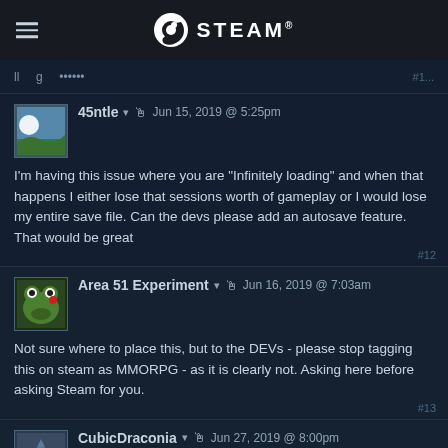STEAM
partial post header (partially visible)
45ntle  Jun 15, 2019 @ 5:25pm
I'm having this issue where you are "Infinitely loading" and when that happens I either lose that sessions worth of gameplay or I would lose my entire save file. Can the devs please add an autosave feature. That would be great
#12
Area 51 Experiment  Jun 16, 2019 @ 7:03am
Not sure where to place this, but to the DEVs - please stop tagging this on steam as MMORPG - as it is clearly not. Asking here before asking Steam for you.
#13
CubicDraconia  Jun 27, 2019 @ 8:00pm
didn't want to go through the hassle of filling out the form on